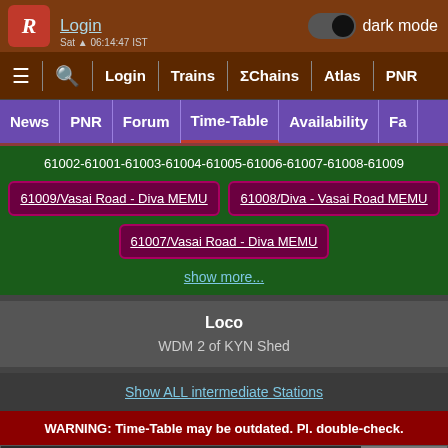Login | dark mode | navigation bar with Trains, ΣChains, Atlas, PNR
News | PNR | Forum | Time-Table | Availability | Fa...
61002-61001-61003-61004-61005-61006-61007-61008-61009
61009/Vasai Road - Diva MEMU
61008/Diva - Vasai Road MEMU
61007/Vasai Road - Diva MEMU
show more...
Loco
WDM 2 of KYN Shed
Show ALL intermediate Stations
WARNING: Time-Table may be outdated. Pl. double-check.
13 halts. 16 intermediate Stations between Dombivli a
Scroll to Bottom
DI Dombivli